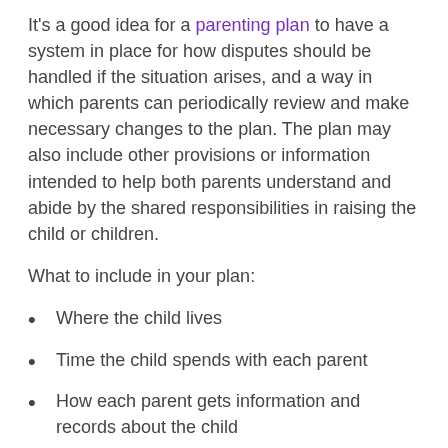It's a good idea for a parenting plan to have a system in place for how disputes should be handled if the situation arises, and a way in which parents can periodically review and make necessary changes to the plan. The plan may also include other provisions or information intended to help both parents understand and abide by the shared responsibilities in raising the child or children.
What to include in your plan:
Where the child lives
Time the child spends with each parent
How each parent gets information and records about the child
How the child is to be transported for